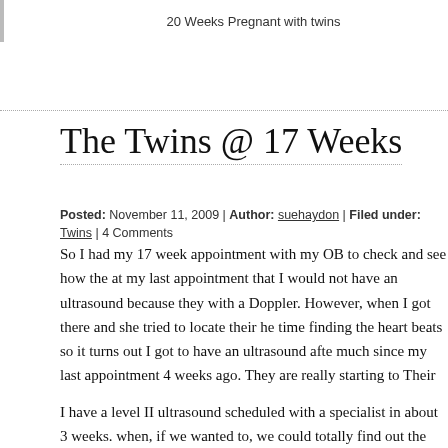20 Weeks Pregnant with twins
The Twins @ 17 Weeks
Posted: November 11, 2009 | Author: suehaydon | Filed under: Twins | 4 Comments
So I had my 17 week appointment with my OB to check and see how the at my last appointment that I would not have an ultrasound because they with a Doppler. However, when I got there and she tried to locate their he time finding the heart beats so it turns out I got to have an ultrasound afte much since my last appointment 4 weeks ago. They are really starting to Their heart beats were 147 and 151. If you go with the old-wives tale that high heart beats are girls, I would have to guess they are boys. She aske the gender today and I told her no because Chris and I are still undecide sex of our babies and Chris was not with me at this appointment.
I have a level II ultrasound scheduled with a specialist in about 3 weeks. when, if we wanted to, we could totally find out the sex of the babies. I kn family who hope we chose to find out the sex. My doctor did tell me that s